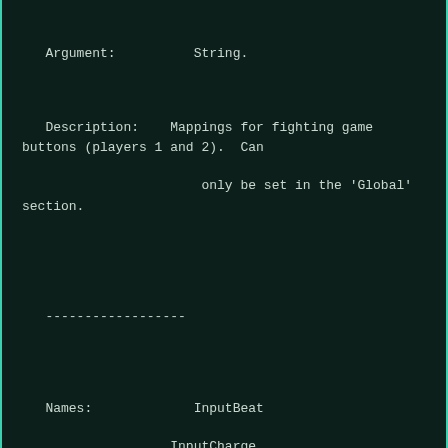Argument:          String.
Description:    Mappings for fighting game buttons (players 1 and 2).  Can

                          only be set in the 'Global'
section.
------------------
Names:             InputBeat

                   InputCharge

                   InputJump